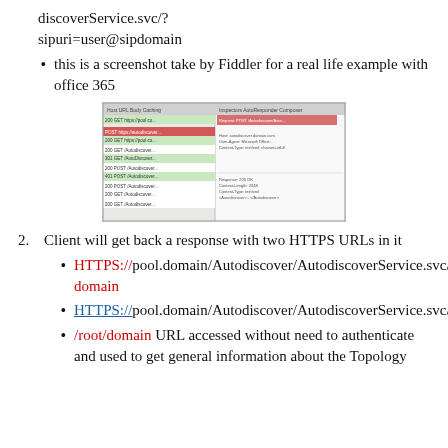discoverService.svc/?sipuri=user@sipdomain
this is a screenshot take by Fiddler for a real life example with office 365
[Figure (screenshot): Fiddler screenshot showing HTTP requests and responses for Office 365 autodiscover]
2. Client will get back a response with two HTTPS URLs in it
HTTPS://pool.domain/Autodiscover/AutodiscoverService.svc/root/ domain
HTTPS://pool.domain/Autodiscover/AutodiscoverService.svc/root/user
/root/domain URL accessed without need to authenticate and used to get general information about the Topology